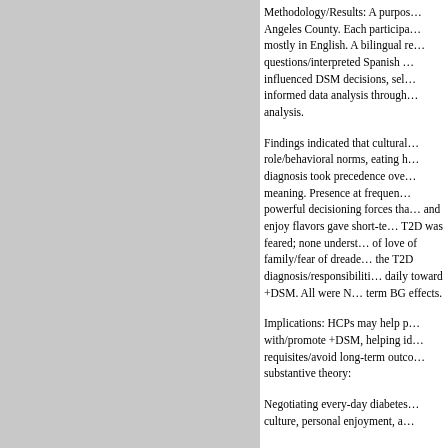Methodology/Results: A purpos… Angeles County. Each participa… mostly in English. A bilingual re… questions/interpreted Spanish … influenced DSM decisions, sel… informed data analysis through… analysis.
Findings indicated that cultural… role/behavioral norms, eating h… diagnosis took precedence ove… meaning. Presence at frequen… powerful decisioning forces tha… and enjoy flavors gave short-te… T2D was feared; none underst… of love of family/fear of dreade… the T2D diagnosis/responsibiliti… daily toward +DSM. All were N… term BG effects.
Implications: HCPs may help p… with/promote +DSM, helping id… requisites/avoid long-term outco… substantive theory:
Negotiating every-day diabetes… culture, personal enjoyment, a…